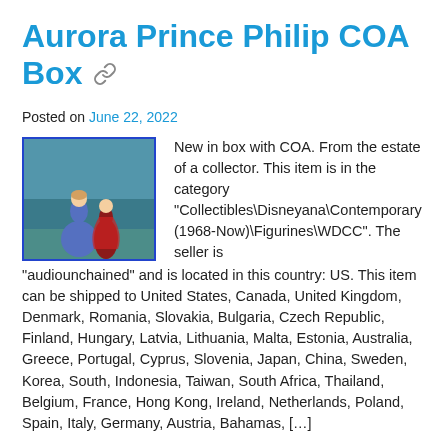Aurora Prince Philip COA Box
Posted on June 22, 2022
[Figure (photo): Small thumbnail photo of Aurora and Prince Philip Disney figurines in front of a teal/green background.]
New in box with COA. From the estate of a collector. This item is in the category “Collectibles\Disneyana\Contemporary (1968-Now)\Figurines\WDCC”. The seller is “audiounchained” and is located in this country: US. This item can be shipped to United States, Canada, United Kingdom, Denmark, Romania, Slovakia, Bulgaria, Czech Republic, Finland, Hungary, Latvia, Lithuania, Malta, Estonia, Australia, Greece, Portugal, Cyprus, Slovenia, Japan, China, Sweden, Korea, South, Indonesia, Taiwan, South Africa, Thailand, Belgium, France, Hong Kong, Ireland, Netherlands, Poland, Spain, Italy, Germany, Austria, Bahamas, […]
Posted in wdcc Tagged 🏷️ aurora, beauty, clouds, dance, philip, prince, princess, sleeping, wdcc
WDCC Sleeping Beauty A...